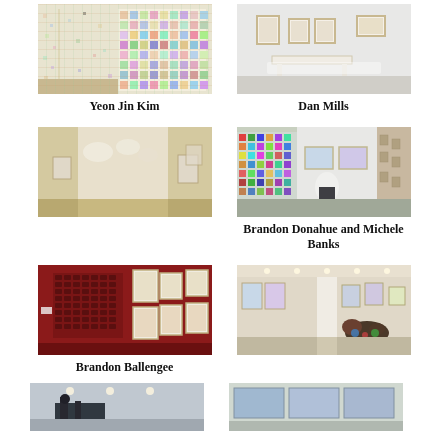[Figure (photo): Gallery installation view with colorful grid artwork on wall — Yeon Jin Kim exhibition]
[Figure (photo): Gallery installation view with framed works on white wall and white table — Dan Mills exhibition]
Yeon Jin Kim
Dan Mills
[Figure (photo): Gallery installation view with hanging sculptural elements and wall works]
[Figure (photo): Gallery installation view with colorful wall display and sculpture — Brandon Donahue and Michele Banks exhibition]
Brandon Donahue and Michele Banks
[Figure (photo): Gallery installation with red wall and framed works grid — Brandon Ballengee exhibition]
[Figure (photo): Gallery installation view with works on wall and sculpture on floor]
Brandon Ballengee
[Figure (photo): Gallery installation view — bottom left]
[Figure (photo): Gallery installation view — bottom right]